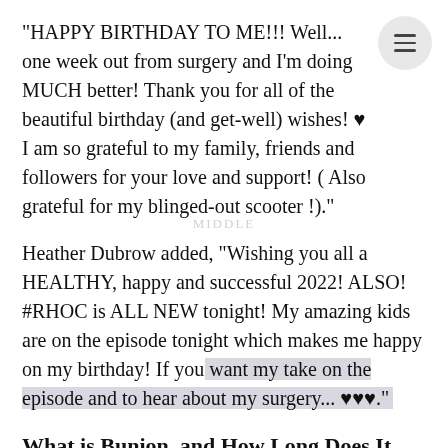"HAPPY BIRTHDAY TO ME!!! Well... one week out from surgery and I'm doing MUCH better! Thank you for all of the beautiful birthday (and get-well) wishes! ♥ I am so grateful to my family, friends and followers for your love and support! ( Also grateful for my blinged-out scooter !)."
Heather Dubrow added, "Wishing you all a HEALTHY, happy and successful 2022! ALSO! #RHOC is ALL NEW tonight! My amazing kids are on the episode tonight which makes me happy on my birthday! If you want my take on the episode and to hear about my surgery... ♥♥♥."
What is Bunion, and How Long Does It Take